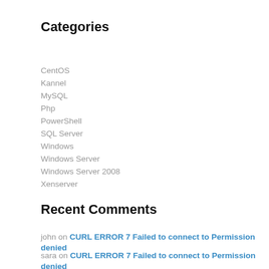Categories
CentOS
Kannel
MySQL
Php
PowerShell
SQL Server
Windows
Windows Server
Windows Server 2008
Xenserver
Recent Comments
john on CURL ERROR 7 Failed to connect to Permission denied
sara on CURL ERROR 7 Failed to connect to Permission denied